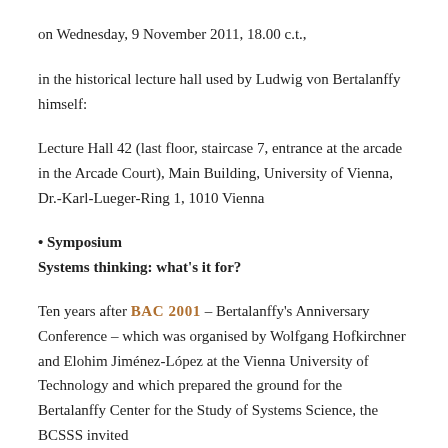on Wednesday, 9 November 2011, 18.00 c.t.,
in the historical lecture hall used by Ludwig von Bertalanffy himself:
Lecture Hall 42 (last floor, staircase 7, entrance at the arcade in the Arcade Court), Main Building, University of Vienna, Dr.-Karl-Lueger-Ring 1, 1010 Vienna
• Symposium
Systems thinking: what’s it for?
Ten years after BAC 2001 – Bertalanffy’s Anniversary Conference – which was organised by Wolfgang Hofkirchner and Elohim Jiménez-López at the Vienna University of Technology and which prepared the ground for the Bertalanffy Center for the Study of Systems Science, the BCSSS invited